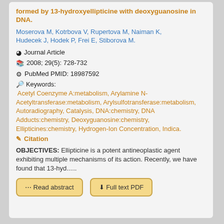formed by 13-hydroxyellipticine with deoxyguanosine in DNA.
Moserova M, Kotrbova V, Rupertova M, Naiman K, Hudecek J, Hodek P, Frei E, Stiborova M.
Journal Article
2008; 29(5): 728-732
PubMed PMID: 18987592
Keywords: Acetyl Coenzyme A:metabolism, Arylamine N-Acetyltransferase:metabolism, Arylsulfotransferase:metabolism, Autoradiography, Catalysis, DNA:chemistry, DNA Adducts:chemistry, Deoxyguanosine:chemistry, Ellipticines:chemistry, Hydrogen-Ion Concentration, Indica.
Citation
OBJECTIVES: Ellipticine is a potent antineoplastic agent exhibiting multiple mechanisms of its action. Recently, we have found that 13-hyd…..